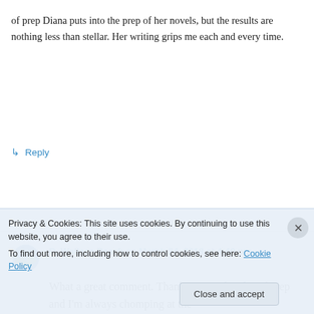of prep Diana puts into the prep of her novels, but the results are nothing less than stellar. Her writing grips me each and every time.
↳ Reply
D. Wallace Peach on March 24, 2018 at 4:40 pm
What a great comment. Thank you!! I do a lot of prep and I'm always chomping at the
Privacy & Cookies: This site uses cookies. By continuing to use this website, you agree to their use.
To find out more, including how to control cookies, see here: Cookie Policy
Close and accept